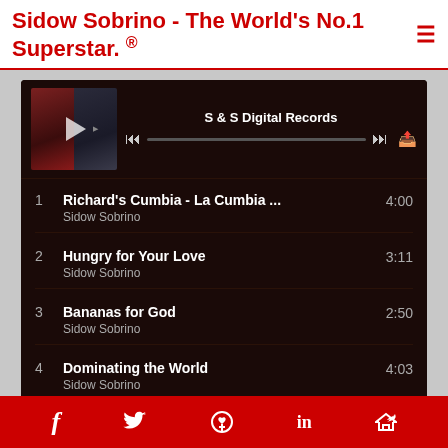Sidow Sobrino - The World's No.1 Superstar. ®≡
[Figure (screenshot): Music player screenshot showing S & S Digital Records playlist with album artwork and playback controls]
1  Richard's Cumbia - La Cumbia ...  4:00
Sidow Sobrino
2  Hungry for Your Love  3:11
Sidow Sobrino
3  Bananas for God  2:50
Sidow Sobrino
4  Dominating the World  4:03
Sidow Sobrino
5  Ride Me Like A Cowboy  2:50
Diegodiego
6  I'm Obsessed with You  3:51
f  Twitter  Pinterest  in  Share